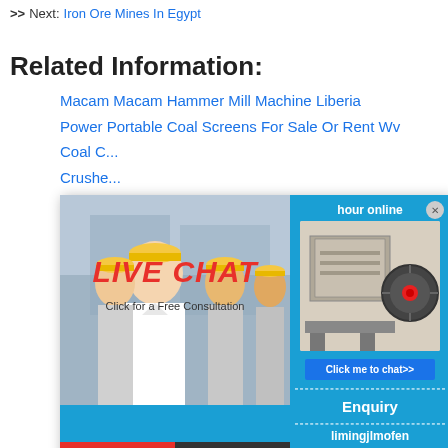>> Next: Iron Ore Mines In Egypt
Related Information:
Macam Macam Hammer Mill Machine Liberia
Power Portable Coal Screens For Sale Or Rent Wv
Coal C...
Crushe...
Used C...
Iron Or...
Artisan...
Working Scheme Jaw Crusher
Hammer Crusher Crushercone
What Is The Advantage Of Vertical
Course Work In The Aggregate Sup...
Batu / Jaw Crusher / Dijual Di Floric...
Www India Stone Cruser Plant
Gold Coal Cooper Mines In South A...
Jaw Crusher Series Mobile Crushe...
[Figure (screenshot): Live chat popup with photo of workers in hard hats, LIVE CHAT text in red, Click for a Free Consultation subtitle, Chat now and Chat later buttons. Right side shows machinery image, hour online text, Click me to chat>> button, Enquiry section, and limingjlmofen text.]